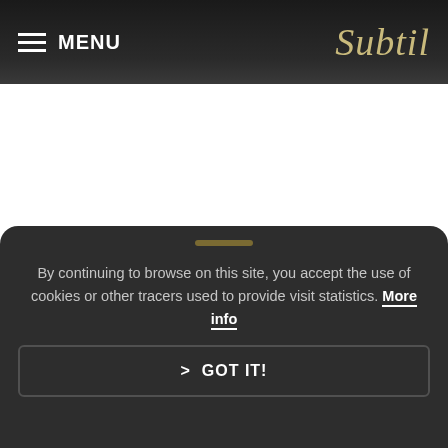MENU | Subtil
[Figure (screenshot): White content area of the webpage]
By continuing to browse on this site, you accept the use of cookies or other tracers used to provide visit statistics. More info
> GOT IT!